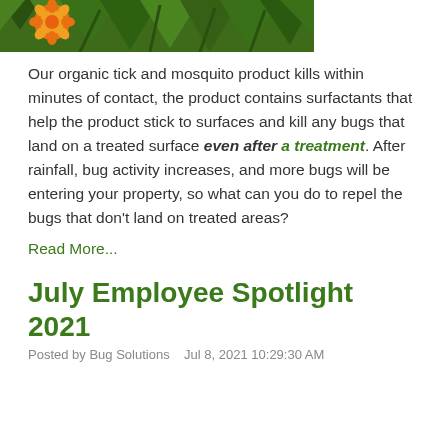[Figure (photo): Marigold flowers and green plant foliage, cropped top portion visible]
Our organic tick and mosquito product kills within minutes of contact, the product contains surfactants that help the product stick to surfaces and kill any bugs that land on a treated surface even after a treatment. After rainfall, bug activity increases, and more bugs will be entering your property, so what can you do to repel the bugs that don't land on treated areas?
Read More...
July Employee Spotlight 2021
Posted by Bug Solutions   Jul 8, 2021 10:29:30 AM